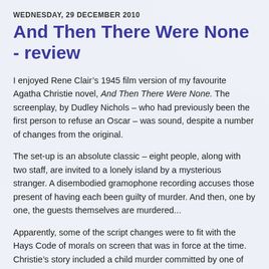WEDNESDAY, 29 DECEMBER 2010
And Then There Were None - review
I enjoyed Rene Clair’s 1945 film version of my favourite Agatha Christie novel, And Then There Were None. The screenplay, by Dudley Nichols – who had previously been the first person to refuse an Oscar – was sound, despite a number of changes from the original.
The set-up is an absolute classic – eight people, along with two staff, are invited to a lonely island by a mysterious stranger. A disembodied gramophone recording accuses those present of having each been guilty of murder. And then, one by one, the guests themselves are murdered...
Apparently, some of the script changes were to fit with the Hays Code of morals on screen that was in force at the time. Christie’s story included a child murder committed by one of the guest, and such a crime was deemed beyond the pale.